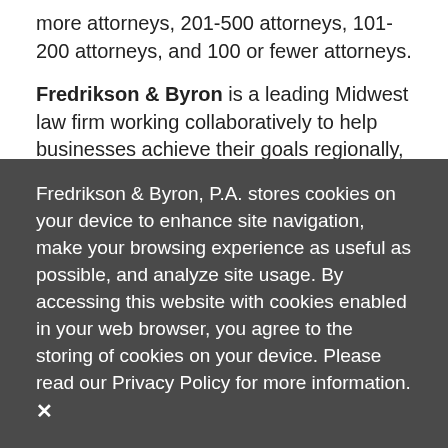more attorneys, 201-500 attorneys, 101-200 attorneys, and 100 or fewer attorneys.
Fredrikson & Byron is a leading Midwest law firm working collaboratively to help businesses achieve their goals regionally, nationally and globally. With a reputation as the firm “where law and business meet,” our attorneys bring business acumen and entrepreneurial thinking to work with clients and operate as business advisors and strategic partners
Fredrikson & Byron, P.A. stores cookies on your device to enhance site navigation, make your browsing experience as useful as possible, and analyze site usage. By accessing this website with cookies enabled in your web browser, you agree to the storing of cookies on your device. Please read our Privacy Policy for more information.